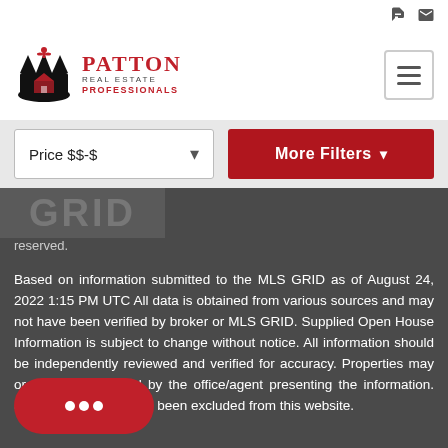[Figure (logo): Patton Real Estate Professionals logo with crown icon]
Price $$-$
More Filters
[Figure (other): MLS GRID logo partially visible]
reserved.
Based on information submitted to the MLS GRID as of August 24, 2022 1:15 PM UTC All data is obtained from various sources and may not have been verified by broker or MLS GRID. Supplied Open House Information is subject to change without notice. All information should be independently reviewed and verified for accuracy. Properties may or may not be listed by the office/agent presenting the information. Some IDX listings have been excluded from this website.